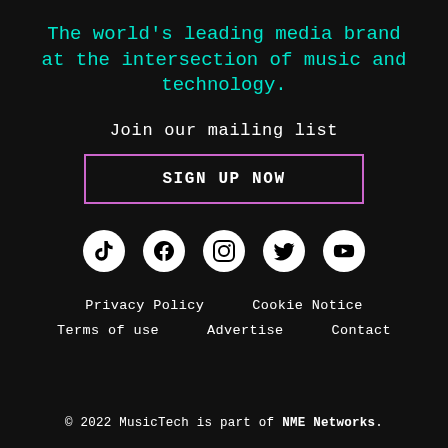The world's leading media brand at the intersection of music and technology.
Join our mailing list
SIGN UP NOW
[Figure (infographic): Row of 5 social media icons (circular white): TikTok, Facebook, Instagram, Twitter, YouTube]
Privacy Policy
Cookie Notice
Terms of use
Advertise
Contact
© 2022 MusicTech is part of NME Networks.